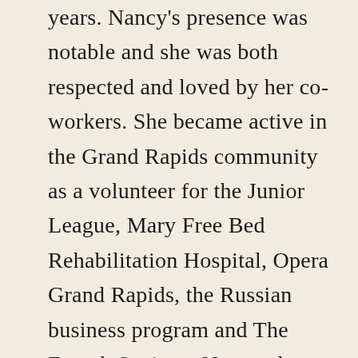years. Nancy's presence was notable and she was both respected and loved by her co-workers. She became active in the Grand Rapids community as a volunteer for the Junior League, Mary Free Bed Rehabilitation Hospital, Opera Grand Rapids, the Russian business program and The French Society.  Nancy along with Jim, hosted jazz concerts in their home featuring prominent musicians such as Ahmad Jamal, The Four Freshman, Diana